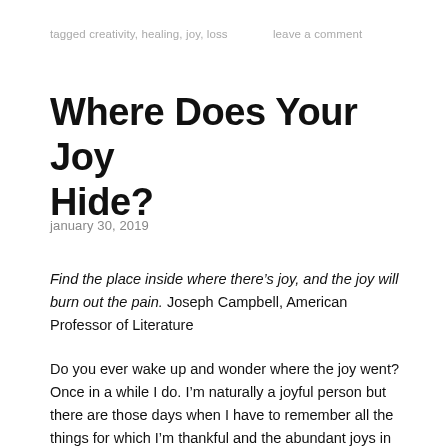tagged creativity, healing, joy, loss     leave a comment
Where Does Your Joy Hide?
january 30, 2019
Find the place inside where there’s joy, and the joy will burn out the pain. Joseph Campbell, American Professor of Literature
Do you ever wake up and wonder where the joy went? Once in a while I do. I’m naturally a joyful person but there are those days when I have to remember all the things for which I’m thankful and the abundant joys in my life. I’ve used Mr. Campbell’s quote before because